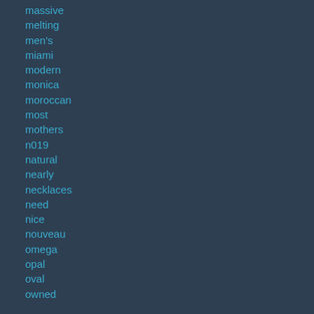massive
melting
men's
miami
modern
monica
moroccan
most
mothers
n019
natural
nearly
necklaces
need
nice
nouveau
omega
opal
oval
owned